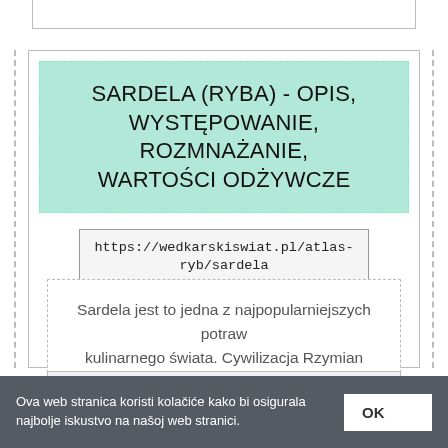SARDELA (RYBA) - OPIS, WYSTĘPOWANIE, ROZMNAŻANIE, WARTOŚCI ODŻYWCZE
https://wedkarskiswiat.pl/atlas-ryb/sardela
Sardela jest to jedna z najpopularniejszych potraw kulinarnego świata. Cywilizacja Rzymian wykorzystywała je do produkcji "garum".
ONLINE
Ova web stranica koristi kolačiće kako bi osigurala najbolje iskustvo na našoj web stranici.